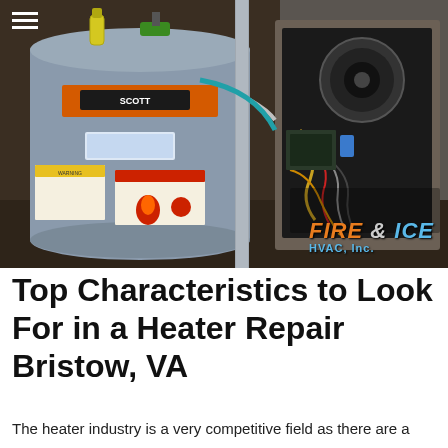[Figure (photo): Photo showing a water heater (cylindrical tank with orange/red warning labels and Scott brand logo) next to an open HVAC furnace unit with internal components visible including wiring and a blower motor. A 'Fire & Ice HVAC, Inc.' logo is overlaid in the lower right corner. A hamburger menu icon is visible in the upper left corner.]
Top Characteristics to Look For in a Heater Repair Bristow, VA
The heater industry is a very competitive field as there are a